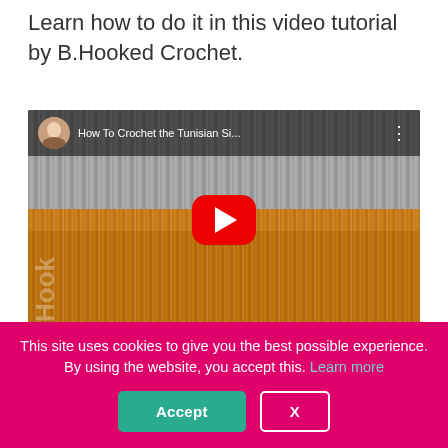Learn how to do it in this video tutorial by B.Hooked Crochet.
[Figure (screenshot): YouTube video thumbnail showing a crochet tutorial titled 'How To Crochet the Tunisian Si...' with a play button, channel avatar, and crochet fabric background in grey and golden/mustard colors.]
This site uses cookies to give you the best possible experience. By using the website, you accept this. Learn more
Accept
X